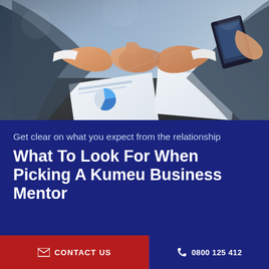[Figure (photo): Two businesspeople shaking hands across a table, with documents and a tablet visible. Business meeting context.]
Get clear on what you expect from the relationship
What To Look For When Picking A Kumeu Business Mentor
CONTACT US
0800 125 412